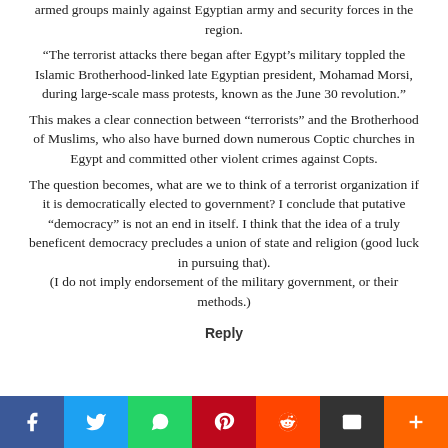armed groups mainly against Egyptian army and security forces in the region.
“The terrorist attacks there began after Egypt’s military toppled the Islamic Brotherhood-linked late Egyptian president, Mohamad Morsi, during large-scale mass protests, known as the June 30 revolution.”
This makes a clear connection between “terrorists” and the Brotherhood of Muslims, who also have burned down numerous Coptic churches in Egypt and committed other violent crimes against Copts.
The question becomes, what are we to think of a terrorist organization if it is democratically elected to government? I conclude that putative “democracy” is not an end in itself. I think that the idea of a truly beneficent democracy precludes a union of state and religion (good luck in pursuing that). (I do not imply endorsement of the military government, or their methods.)
Reply
[Figure (infographic): Social sharing bar with buttons: Facebook (blue), Twitter (light blue), WhatsApp (green), Pinterest (dark red), Reddit (orange-red), Email (black), More/plus (orange)]